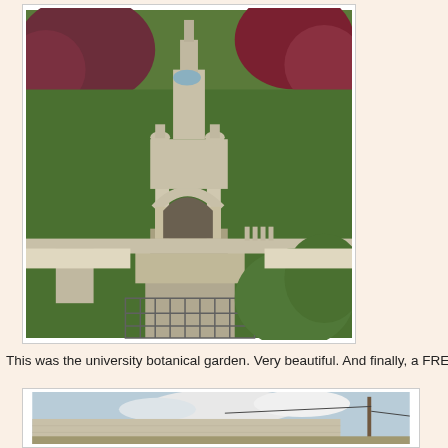[Figure (photo): University botanical garden with ornate stone fountain/gate structure, arched colonnade, urns, balustrades, surrounded by lush green foliage and red-leafed trees]
This was the university botanical garden. Very beautiful. And finally, a FREE garden
[Figure (photo): Outdoor scene showing a large concrete or stone wall under a partly cloudy sky, with a utility pole visible on the right]